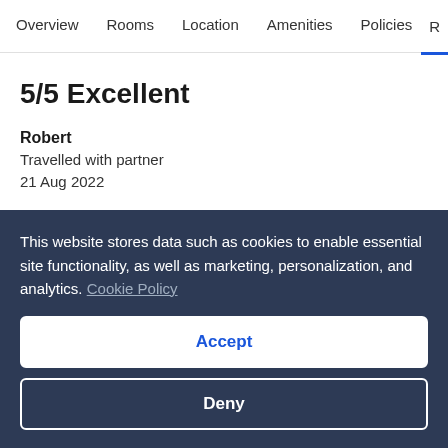Overview  Rooms  Location  Amenities  Policies  R
5/5 Excellent
Robert
Travelled with partner
21 Aug 2022
Liked: Cleanliness, staff & service, amenities, property conditions & facilities
Our room was very comfortable and clean. The breakfast was really lovely and restocked very efficiently with very helpful staff.
This website stores data such as cookies to enable essential site functionality, as well as marketing, personalization, and analytics. Cookie Policy
Accept
Deny